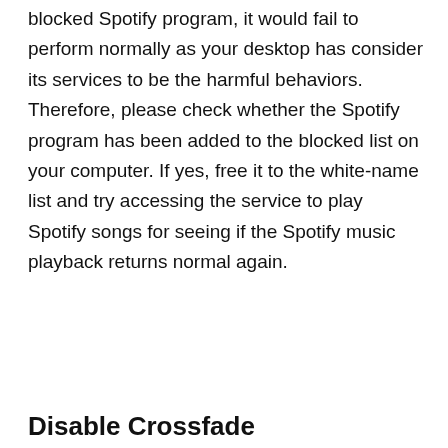blocked Spotify program, it would fail to perform normally as your desktop has consider its services to be the harmful behaviors. Therefore, please check whether the Spotify program has been added to the blocked list on your computer. If yes, free it to the white-name list and try accessing the service to play Spotify songs for seeing if the Spotify music playback returns normal again.
Disable Crossfade